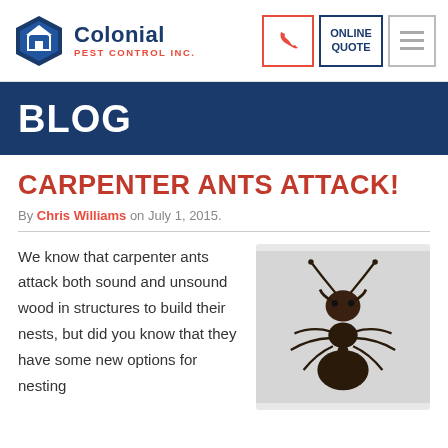[Figure (logo): Colonial Pest Control Inc. logo with hexagonal house icon and company name]
[Figure (other): Navigation header buttons: phone icon (red border), ONLINE QUOTE (blue border), hamburger menu (grey border)]
BLOG
CARPENTER ANTS ATTACK!
By Chris Williams on July 1, 2015.
We know that carpenter ants attack both sound and unsound wood in structures to build their nests, but did you know that they have some new options for nesting
[Figure (photo): Close-up photo of a carpenter ant viewed from above on a light grey background]